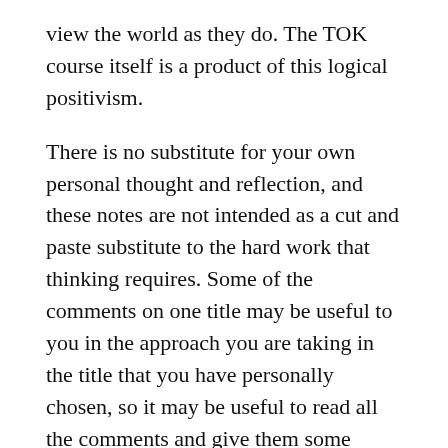view the world as they do. The TOK course itself is a product of this logical positivism.
There is no substitute for your own personal thought and reflection, and these notes are not intended as a cut and paste substitute to the hard work that thinking requires. Some of the comments on one title may be useful to you in the approach you are taking in the title that you have personally chosen, so it may be useful to read all the comments and give them some reflection.
My experience has been that candidates whose examples match those to be found on TOK “help” sites (and this is another of those TOK